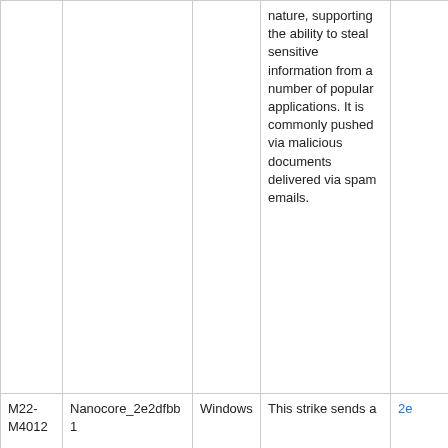|  |  |  | nature, supporting the ability to steal sensitive information from a number of popular applications. It is commonly pushed via malicious documents delivered via spam emails. |  |
| M22-M4012 | Nanocore_2e2dfbb1 | Windows | This strike sends a | 2e... |